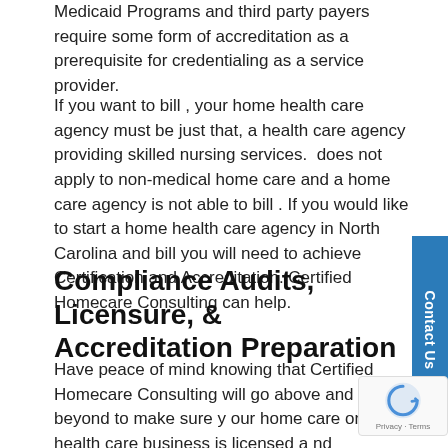Medicaid Programs and third party payers require some form of accreditation as a prerequisite for credentialing as a service provider.
If you want to bill , your home health care agency must be just that, a health care agency providing skilled nursing services.  does not apply to non-medical home care and a home care agency is not able to bill . If you would like to start a home health care agency in North Carolina and bill you will need to achieve  Certification and Accreditation. Certified Homecare Consulting can help.
Compliance Audits, Licensure, & Accreditation Preparation
Have peace of mind knowing that Certified Homecare Consulting will go above and beyond to make sure your home care or home health care business is licensed and accredited. Our consultants review everything your